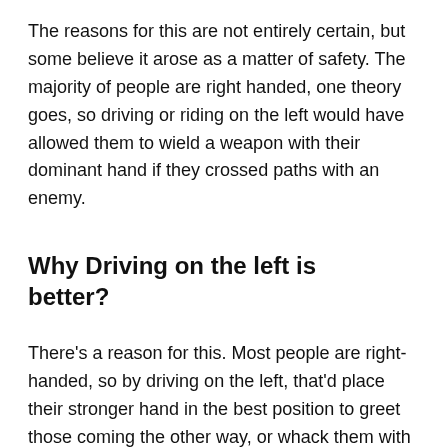The reasons for this are not entirely certain, but some believe it arose as a matter of safety. The majority of people are right handed, one theory goes, so driving or riding on the left would have allowed them to wield a weapon with their dominant hand if they crossed paths with an enemy.
Why Driving on the left is better?
There's a reason for this. Most people are right-handed, so by driving on the left, that'd place their stronger hand in the best position to greet those coming the other way, or whack them with a